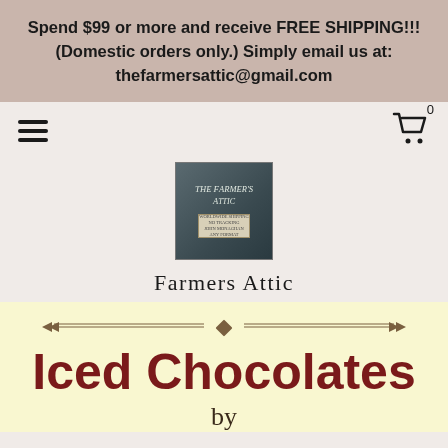Spend $99 or more and receive FREE SHIPPING!!! (Domestic orders only.) Simply email us at: thefarmersattic@gmail.com
[Figure (logo): The Farmer's Attic logo - a vintage metal sign with handwritten text saying THE FARMER'S ATTIC]
Farmers Attic
Iced Chocolates
by